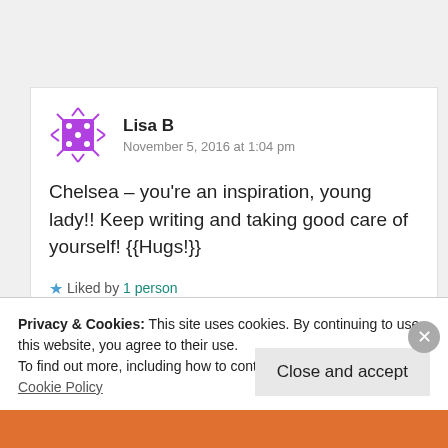[Figure (illustration): Purple square avatar icon with white dots and spiky border, representing user Lisa B]
Lisa B
November 5, 2016 at 1:04 pm
Chelsea – you're an inspiration, young lady!! Keep writing and taking good care of yourself! {{Hugs!}}
★ Liked by 1 person
Privacy & Cookies: This site uses cookies. By continuing to use this website, you agree to their use.
To find out more, including how to control cookies, see here: Cookie Policy
Close and accept